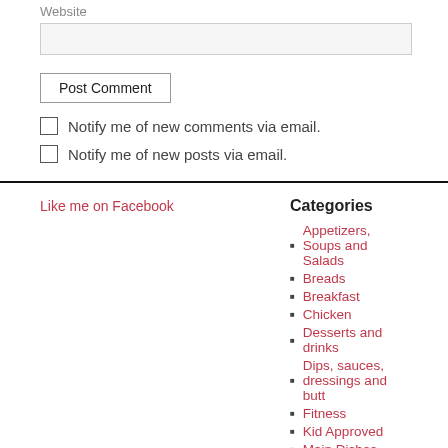Website
Post Comment
Notify me of new comments via email.
Notify me of new posts via email.
Like me on Facebook
Categories
Appetizers, Soups and Salads
Breads
Breakfast
Chicken
Desserts and drinks
Dips, sauces, dressings and butt...
Fitness
Kid Approved
Main Dishes
Nutrition and Wellness